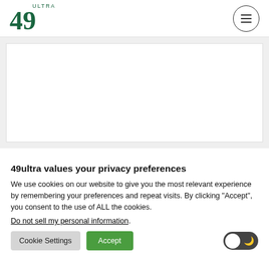49 ULTRA
[Figure (screenshot): White rectangular image placeholder area on light gray background]
49ultra values your privacy preferences
We use cookies on our website to give you the most relevant experience by remembering your preferences and repeat visits. By clicking “Accept”, you consent to the use of ALL the cookies.
Do not sell my personal information.
Cookie Settings | Accept